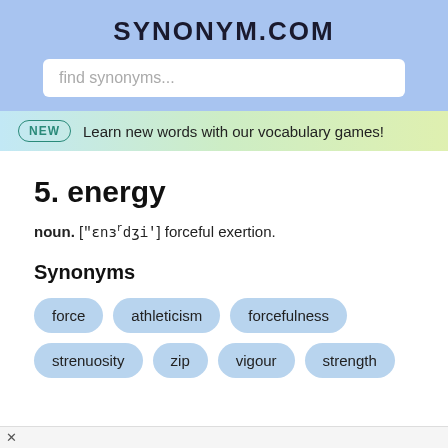SYNONYM.COM
find synonyms...
NEW  Learn new words with our vocabulary games!
5. energy
noun. ["ɛnɜrdʒi'] forceful exertion.
Synonyms
force
athleticism
forcefulness
strenuosity
zip
vigour
strength